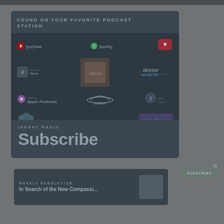FOUND ON YOUR FAVORITE PODCAST STATION
[Figure (infographic): Grid of podcast platform logos including YouTube Music, Spotify, iHeartRadio, Apple Podcasts, Amazon Music, Deezer, Audible, Podchaser, and more, with URL https://stadiumia.com and '...and more...' text]
IHEART RADIO Subscribe
WEEKLY NEWSLETTER In Search of the New Compassi...